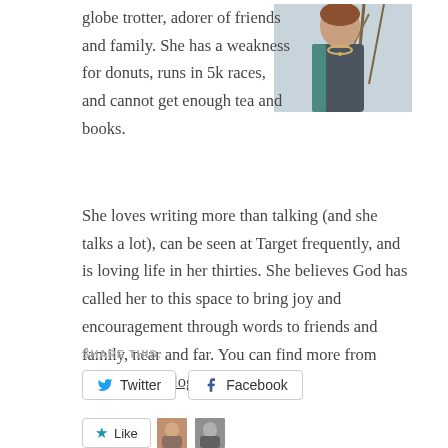[Figure (photo): Photo of a woman wearing a dark top and necklace, outdoors with trees in background]
globe trotter, adorer of friends and family. She has a weakness for donuts, runs in 5k races, and cannot get enough tea and books. She loves writing more than talking (and she talks a lot), can be seen at Target frequently, and is loving life in her thirties. She believes God has called her to this space to bring joy and encouragement through words to friends and family, near and far. You can find more from Sarah at her blog or on Twitter.
SHARE THIS:
Twitter  Facebook
Like